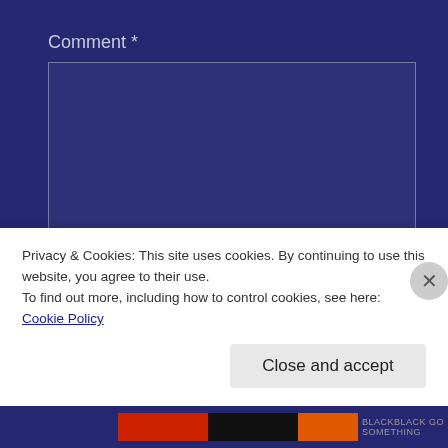Comment *
[Figure (screenshot): Empty comment textarea with dark blue background and thin border]
Privacy & Cookies: This site uses cookies. By continuing to use this website, you agree to their use.
To find out more, including how to control cookies, see here: Cookie Policy
Close and accept